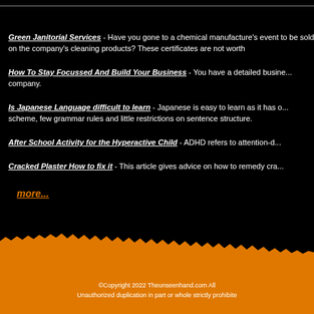Green Janitorial Services - Have you gone to a chemical manufacture's event to be sold on the company's cleaning products? These certificates are not worth...
How To Stay Focussed And Build Your Business - You have a detailed business... company.
Is Japanese Language difficult to learn - Japanese is easy to learn as it has o... scheme, few grammar rules and little restrictions on sentence structure.
After School Activity for the Hyperactive Child - ADHD refers to attention-d...
Cracked Plaster How to fix it - This article gives advice on how to remedy cra...
more...
©Copyright 2022 Theunseenhand.com All... Unauthorized duplication in part or whole strictly prohibite...